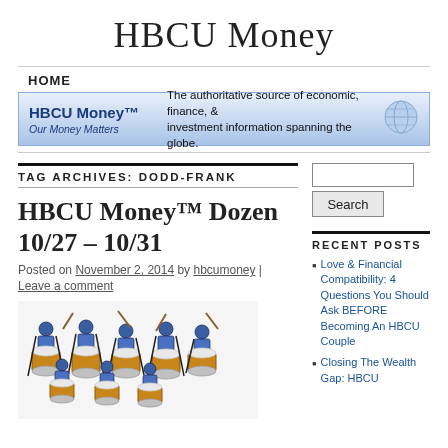HBCU Money
HOME
[Figure (screenshot): HBCU Money banner: 'HBCU Money™ Our Money Matters - The authoritative source of economic, finance, & investment information spanning the globe.']
TAG ARCHIVES: DODD-FRANK
HBCU Money™ Dozen 10/27 – 10/31
Posted on November 2, 2014 by hbcumoney | Leave a comment
[Figure (illustration): Illustration of a marching band drum line with multiple drummers in blue uniforms playing large bass drums.]
RECENT POSTS
Love & Financial Compatibility: 4 Questions You Should Ask BEFORE Becoming An HBCU Couple
Closing The Wealth Gap: HBCU